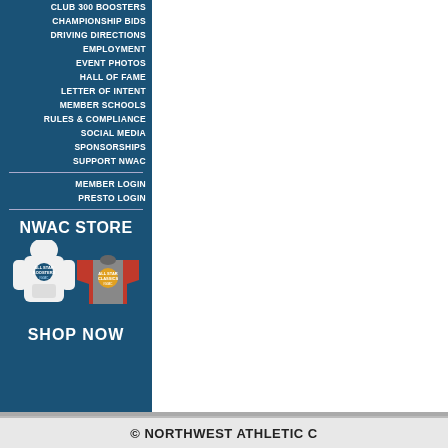CLUB 300 BOOSTERS
CHAMPIONSHIP BIDS
DRIVING DIRECTIONS
EMPLOYMENT
EVENT PHOTOS
HALL OF FAME
LETTER OF INTENT
MEMBER SCHOOLS
RULES & COMPLIANCE
SOCIAL MEDIA
SPONSORSHIPS
SUPPORT NWAC
MEMBER LOGIN
PRESTO LOGIN
[Figure (screenshot): NWAC Store banner with hoodie and t-shirt images and SHOP NOW text]
Select a Team
© NORTHWEST ATHLETIC C